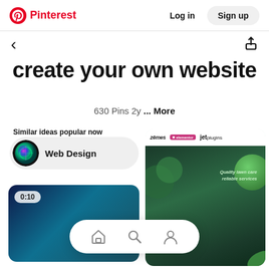Pinterest  Log in  Sign up
create your own website
630 Pins 2y ... More
Similar ideas popular now
Web Design
[Figure (screenshot): Pinterest board page showing 'create your own website' with 630 pins, a Web Design chip, a video pin card with 0:10 timer, and a website preview card showing zemes, elementor, jetplugins logos with a lawn care website preview.]
[Figure (screenshot): Bottom navigation bar with home, search, and profile icons on white pill-shaped background.]